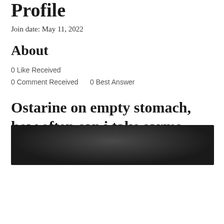Profile
Join date: May 11, 2022
About
0 Like Received
0 Comment Received    0 Best Answer
Ostarine on empty stomach, how often can i take sarms
Ostarine on empty stomach, how often can i take sarms - Buy anabolic steroids online
[Figure (photo): Dark blurred product image at bottom of page]